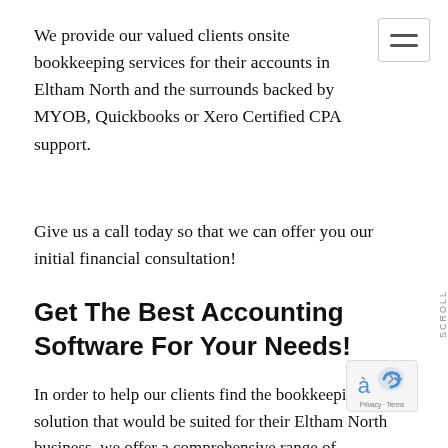We provide our valued clients onsite bookkeeping services for their accounts in Eltham North and the surrounds backed by MYOB, Quickbooks or Xero Certified CPA support.
Give us a call today so that we can offer you our initial financial consultation!
Get The Best Accounting Software For Your Needs!
In order to help our clients find the bookkeeping solution that would be suited for their Eltham North business, we offer a comprehensive range of software that is available to be purchased directly through us. We have carefully selected this range based on personal experience with the products and have chosen the ones we believe are of the best functionality and are MYOB, X...